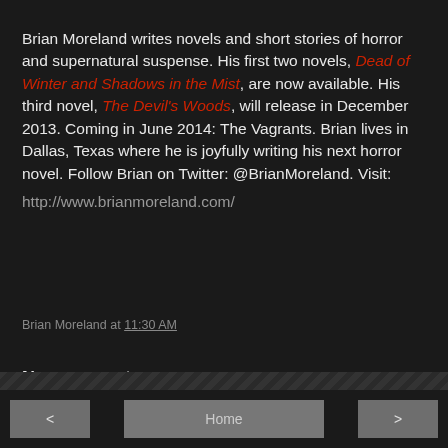Brian Moreland writes novels and short stories of horror and supernatural suspense. His first two novels, Dead of Winter and Shadows in the Mist, are now available. His third novel, The Devil's Woods, will release in December 2013. Coming in June 2014: The Vagrants. Brian lives in Dallas, Texas where he is joyfully writing his next horror novel. Follow Brian on Twitter: @BrianMoreland. Visit: http://www.brianmoreland.com/
Brian Moreland at 11:30 AM
No comments:
Post a Comment
< Home >